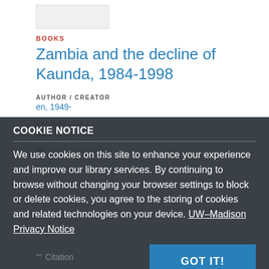[Figure (illustration): Book cover thumbnail placeholder image]
BOOKS
Zambia and the decline of Kaunda, 1984-1998
AUTHOR / CREATOR
en, 1949-
AVAILABLE AS
Physical
Request a Copy
COOKIE NOTICE
We use cookies on this site to enhance your experience and improve our library services. By continuing to browse without changing your browser settings to block or delete cookies, you agree to the storing of cookies and related technologies on your device. UW–Madison Privacy Notice
GOT IT!
Citation